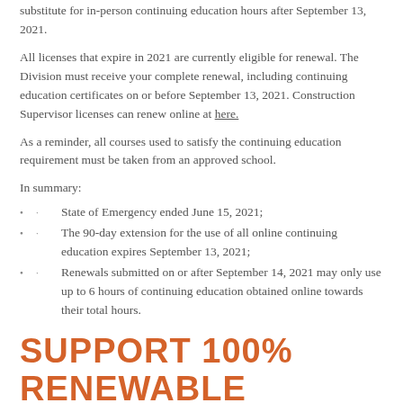substitute for in-person continuing education hours after September 13, 2021.
All licenses that expire in 2021 are currently eligible for renewal. The Division must receive your complete renewal, including continuing education certificates on or before September 13, 2021. Construction Supervisor licenses can renew online at here.
As a reminder, all courses used to satisfy the continuing education requirement must be taken from an approved school.
In summary:
· State of Emergency ended June 15, 2021;
· The 90-day extension for the use of all online continuing education expires September 13, 2021;
· Renewals submitted on or after September 14, 2021 may only use up to 6 hours of continuing education obtained online towards their total hours.
SUPPORT 100% RENEWABLE